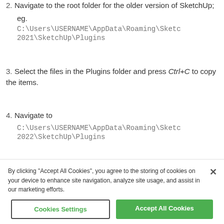2. Navigate to the root folder for the older version of SketchUp; eg. C:\Users\USERNAME\AppData\Roaming\SketchUp 2021\SketchUp\Plugins
3. Select the files in the Plugins folder and press Ctrl+C to copy the items.
4. Navigate to C:\Users\USERNAME\AppData\Roaming\SketchUp 2022\SketchUp\Plugins
5. Press Ctrl+V on your keyboard to paste the
By clicking “Accept All Cookies”, you agree to the storing of cookies on your device to enhance site navigation, analyze site usage, and assist in our marketing efforts.
Cookies Settings
Accept All Cookies